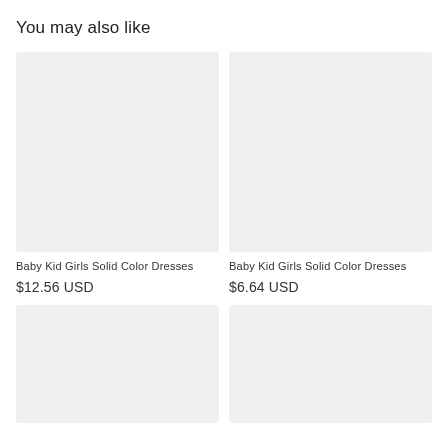You may also like
[Figure (photo): Product image placeholder for Baby Kid Girls Solid Color Dresses (left, top row)]
[Figure (photo): Product image placeholder for Baby Kid Girls Solid Color Dresses (right, top row)]
Baby Kid Girls Solid Color Dresses
$12.56 USD
Baby Kid Girls Solid Color Dresses
$6.64 USD
[Figure (photo): Product image placeholder (left, bottom row)]
[Figure (photo): Product image placeholder (right, bottom row)]